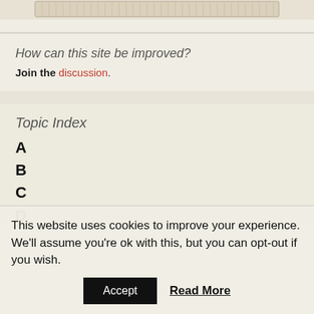[Figure (illustration): Partial view of a decorative historical illustration or banner, cropped at top of page]
How can this site be improved?
Join the discussion.
Topic Index
A
B
C
D
This website uses cookies to improve your experience. We'll assume you're ok with this, but you can opt-out if you wish.
Accept   Read More